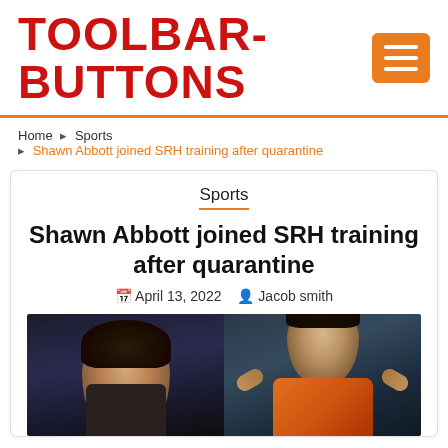TOOLBAR-BUTTONS
Home › Sports › Shawn Abbott joined SRH training after quarantine
Sports
Shawn Abbott joined SRH training after quarantine
April 13, 2022  Jacob smith
[Figure (photo): Two cricket players side by side — left player in dark attire, right player in orange SRH jersey with hands behind head]